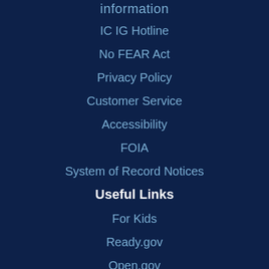information
IC IG Hotline
No FEAR Act
Privacy Policy
Customer Service
Accessibility
FOIA
System of Record Notices
Useful Links
For Kids
Ready.gov
Open.gov
Flu.gov
PhishingAct...